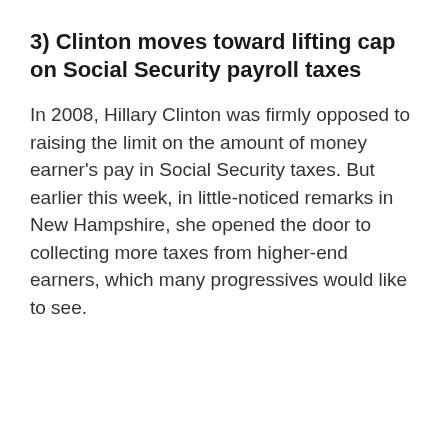3) Clinton moves toward lifting cap on Social Security payroll taxes
In 2008, Hillary Clinton was firmly opposed to raising the limit on the amount of money earner's pay in Social Security taxes. But earlier this week, in little-noticed remarks in New Hampshire, she opened the door to collecting more taxes from higher-end earners, which many progressives would like to see.